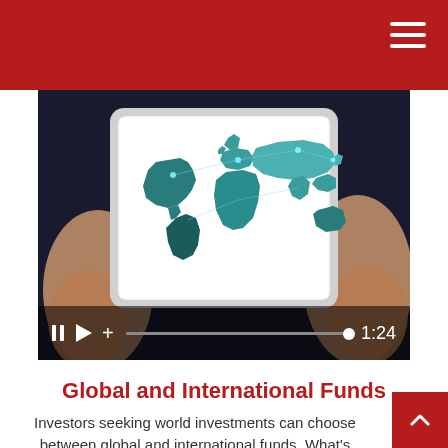[Figure (screenshot): Red header bar with hamburger menu icon (three white horizontal lines) in top right corner]
[Figure (photo): Video player showing hands holding a tablet displaying a teal/dark blue world map illustration on white screen. Video controls bar at bottom shows pause, play, plus icons, a progress bar, and timestamp 1:24]
Global and International Funds
Investors seeking world investments can choose between global and international funds. What's the difference?